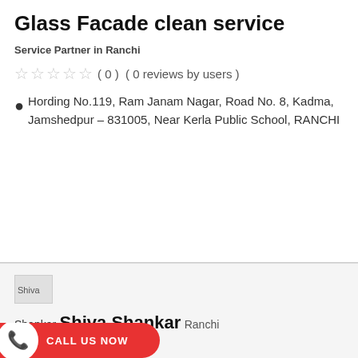Glass Facade clean service
Service Partner in Ranchi
☆ ☆ ☆ ☆ ☆ ( 0 ) ( 0 reviews by users )
Hording No.119, Ram Janam Nagar, Road No. 8, Kadma, Jamshedpur - 831005, Near Kerla Public School, RANCHI
READ MORE
[Figure (photo): Broken image placeholder labeled Shiva]
Shankar
Shiva Shankar
Ranchi
CALL US NOW